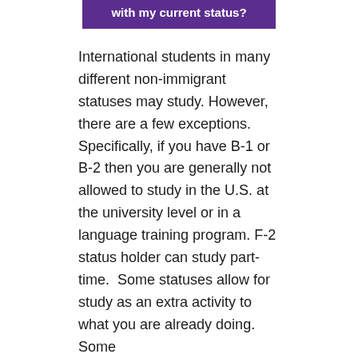with my current status?
International students in many different non-immigrant statuses may study. However, there are a few exceptions. Specifically, if you have B-1 or B-2 then you are generally not allowed to study in the U.S. at the university level or in a language training program. F-2 status holder can study part-time.  Some statuses allow for study as an extra activity to what you are already doing. Some examples of this would be